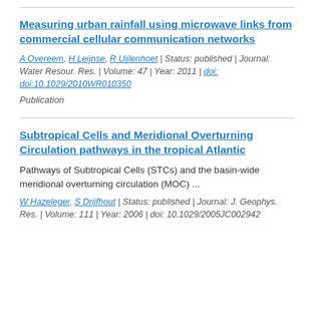Measuring urban rainfall using microwave links from commercial cellular communication networks
A Overeem, H Leijnse, R Uijlenhoet | Status: published | Journal: Water Resour. Res. | Volume: 47 | Year: 2011 | doi: doi:10.1029/2010WR010350
Publication
Subtropical Cells and Meridional Overturning Circulation pathways in the tropical Atlantic
Pathways of Subtropical Cells (STCs) and the basin-wide meridional overturning circulation (MOC) ...
W Hazeleger, S Drijfhout | Status: published | Journal: J. Geophys. Res. | Volume: 111 | Year: 2006 | doi: 10.1029/2005JC002942